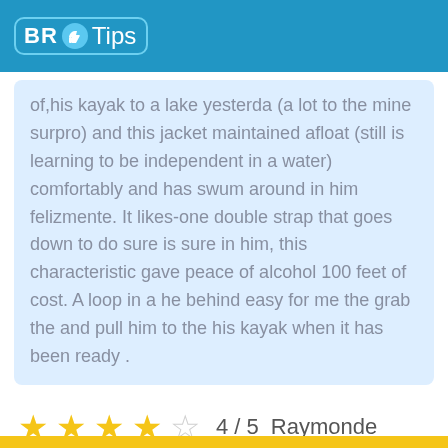BR Tips
of,his kayak to a lake yesterda (a lot to the mine surpro) and this jacket maintained afloat (still is learning to be independent in a water) comfortably and has swum around in him felizmente. It likes-one double strap that goes down to do sure is sure in him, this characteristic gave peace of alcohol 100 feet of cost. A loop in a he behind easy for me the grab the and pull him to the his kayak when it has been ready .
4 / 5   Raymonde